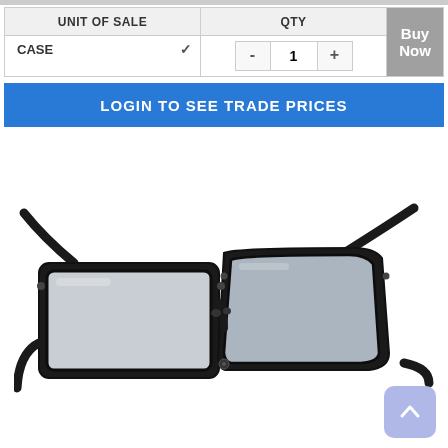| UNIT OF SALE | QTY |  |
| --- | --- | --- |
| CASE ∨ | - 1 + | Buy Now |
LOGIN TO SEE TRADE PRICES
[Figure (photo): Black rectangular reading glasses with clear lenses shown at a three-quarter angle on white background]